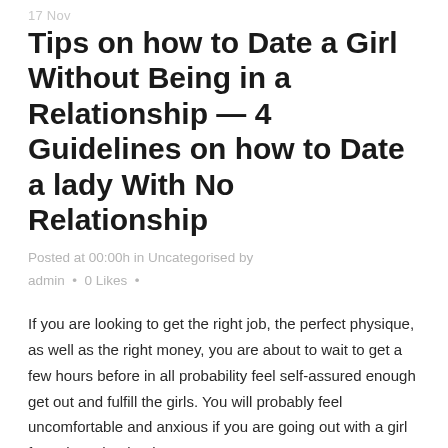17 Nov
Tips on how to Date a Girl Without Being in a Relationship — 4 Guidelines on how to Date a lady With No Relationship
Posted at 00:00h in Uncategorised by admin  •  0 Likes  •
If you are looking to get the right job, the perfect physique, as well as the right money, you are about to wait to get a few hours before in all probability feel self-assured enough get out and fulfill the girls. You will probably feel uncomfortable and anxious if you are going out with a girl from the school or in